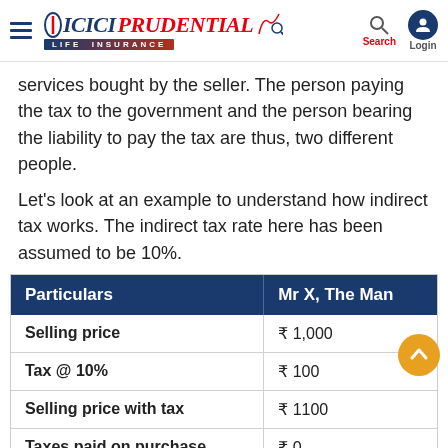ICICI PRUDENTIAL LIFE INSURANCE
services bought by the seller. The person paying the tax to the government and the person bearing the liability to pay the tax are thus, two different people.
Let's look at an example to understand how indirect tax works. The indirect tax rate here has been assumed to be 10%.
| Particulars | Mr X, The Man |
| --- | --- |
| Selling price | ₹ 1,000 |
| Tax @ 10% | ₹ 100 |
| Selling price with tax | ₹ 1100 |
| Taxes paid on purchase | ₹ 0 |